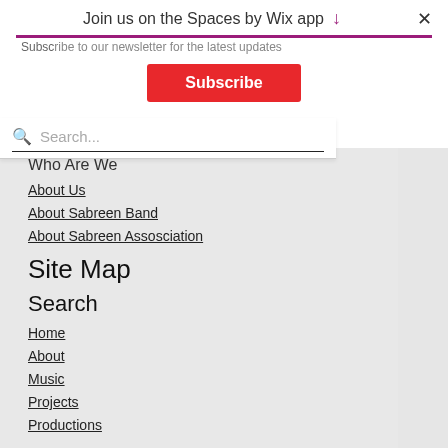Join us on the Spaces by Wix app ↓  ✕
Subscribe to our newsletter for the latest updates
Subscribe
Search...
Who Are We
About Us
About Sabreen Band
About Sabreen Assosciation
Site Map
Search
Home
About
Music
Projects
Productions